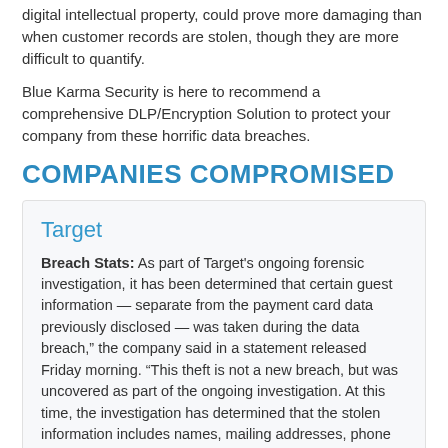digital intellectual property, could prove more damaging than when customer records are stolen, though they are more difficult to quantify.
Blue Karma Security is here to recommend a comprehensive DLP/Encryption Solution to protect your company from these horrific data breaches.
COMPANIES COMPROMISED
Target
Breach Stats: As part of Target's ongoing forensic investigation, it has been determined that certain guest information — separate from the payment card data previously disclosed — was taken during the data breach," the company said in a statement released Friday morning. "This theft is not a new breach, but was uncovered as part of the ongoing investigation. At this time, the investigation has determined that the stolen information includes names, mailing addresses, phone numbers or email addresses for up to 70 million individuals.